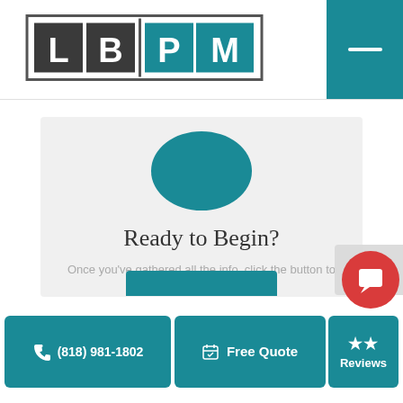[Figure (logo): LBPM logo with teal and dark colored letter tiles in a rectangular border]
Ready to Begin?
Once you've gathered all the info, click the button to begin your application. →
(818) 981-1802   Free Quote   Reviews